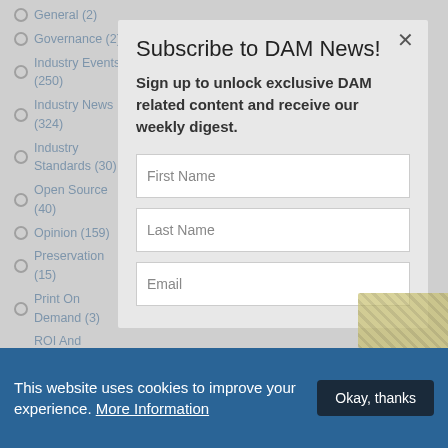General (2)
Governance (2)
Industry Events (250)
Industry News (324)
Industry Standards (30)
Open Source (40)
Opinion (159)
Preservation (15)
Print On Demand (3)
ROI And Business Cases For DAM (22)
SaaS (4)
Semantic Web (38)
Sharepoint (31)
Social Media and DAM (11)
Special Features (18)
Streaming (41)
Subscribe to DAM News!
Sign up to unlock exclusive DAM related content and receive our weekly digest.
First Name
Last Name
Email
This website uses cookies to improve your experience. More Information
Okay, thanks